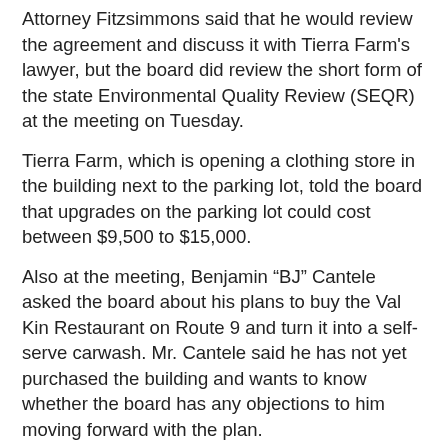Attorney Fitzsimmons said that he would review the agreement and discuss it with Tierra Farm's lawyer, but the board did review the short form of the state Environmental Quality Review (SEQR) at the meeting on Tuesday.
Tierra Farm, which is opening a clothing store in the building next to the parking lot, told the board that upgrades on the parking lot could cost between $9,500 to $15,000.
Also at the meeting, Benjamin “BJ” Cantele asked the board about his plans to buy the Val Kin Restaurant on Route 9 and turn it into a self-serve carwash. Mr. Cantele said he has not yet purchased the building and wants to know whether the board has any objections to him moving forward with the plan.
Mr. Fitzsimmons said that since the Val Kin was an existing commercial site there would be no problems with Mr. Cantele hooking up to the water and sewer. His site plans will have to be reviewed by the Village Planning Board.
Mr. Cantele said he hopes to make the business, “a little more Kinderhook-ish.” He stressed that there was a need for...